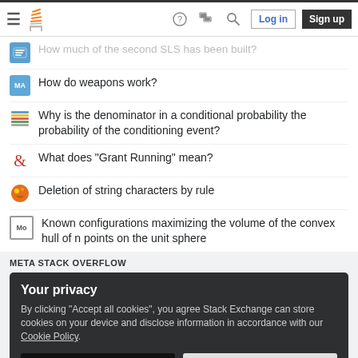Stack Overflow navigation bar with hamburger menu, logo, help, chat, search icons, Log in and Sign up buttons
How much of the second SLS has been built?
How do weapons work?
Why is the denominator in a conditional probability the probability of the conditioning event?
What does "Grant Running" mean?
Deletion of string characters by rule
Known configurations maximizing the volume of the convex hull of n points on the unit sphere
META STACK OVERFLOW
Your privacy
By clicking "Accept all cookies", you agree Stack Exchange can store cookies on your device and disclose information in accordance with our Cookie Policy.
Accept all cookies   Customize settings
About  Press  Work Here  Legal  Privacy Policy  Terms of Service